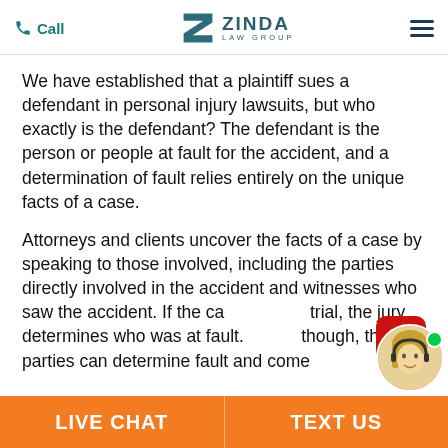Call | ZINDA LAW GROUP
We have established that a plaintiff sues a defendant in personal injury lawsuits, but who exactly is the defendant? The defendant is the person or people at fault for the accident, and a determination of fault relies entirely on the unique facts of a case.
Attorneys and clients uncover the facts of a case by speaking to those involved, including the parties directly involved in the accident and witnesses who saw the accident. If the case goes to trial, the jury determines who was at fault. Often, though, the parties can determine fault and come
[Figure (other): Live chat widget with a red speech bubble with three white dots, and a circular avatar photo of a blonde woman with a headset and a green online indicator dot]
LIVE CHAT | TEXT US